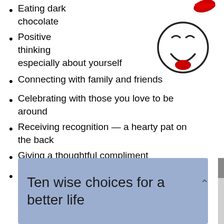Eating dark chocolate
Positive thinking especially about yourself
[Figure (illustration): A cartoon smiley face with a big open smile and red lips, drawn in black and white with red accent]
Connecting with family and friends
Celebrating with those you love to be around
Receiving recognition — a hearty pat on the back
Giving a thoughtful compliment
Enjoying nature's beauty
Ten wise choices for a better life